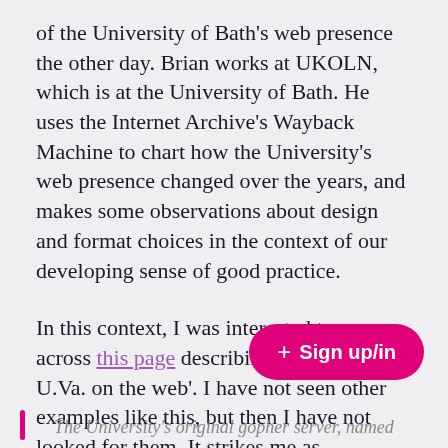of the University of Bath's web presence the other day. Brian works at UKOLN, which is at the University of Bath. He uses the Internet Archive's Wayback Machine to chart how the University's web presence changed over the years, and makes some observations about design and format choices in the context of our developing sense of good practice.
In this context, I was interested to come across this page describing the 'history of U.Va. on the web'. I have not seen other examples like this, but then I have not looked for them. It strikes me as interesting and useful.
The University's original gopher server, named